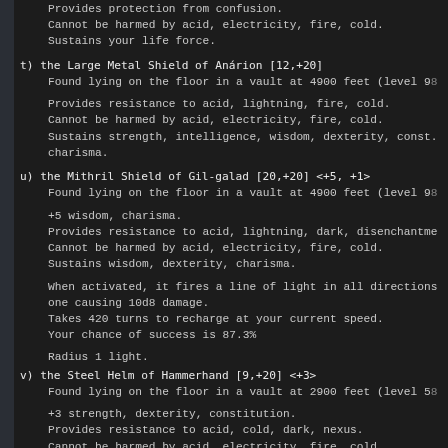Provides protection from confusion.
Cannot be harmed by acid, electricity, fire, cold.
Sustains your life force.
t) the Large Metal Shield of Anárion [12,+20]
    Found lying on the floor in a vault at 4900 feet (level 98

    Provides resistance to acid, lightning, fire, cold.
    Cannot be harmed by acid, electricity, fire, cold.
    Sustains strength, intelligence, wisdom, dexterity, const.
    charisma.
u) the Mithril Shield of Gil-galad [20,+20] <+5, +1>
    Found lying on the floor in a vault at 4900 feet (level 98

    +5 wisdom, charisma.
    Provides resistance to acid, lightning, dark, disenchantme
    Cannot be harmed by acid, electricity, fire, cold.
    Sustains wisdom, dexterity, charisma.

    When activated, it fires a line of light in all directions
    one causing 10d8 damage.
    Takes 420 turns to recharge at your current speed.
    Your chance of success is 87.3%

    Radius 1 light.
v) the Steel Helm of Hammerhand [9,+20] <+3>
    Found lying on the floor in a vault at 2900 feet (level 58

    +3 strength, dexterity, constitution.
    Provides resistance to acid, cold, dark, nexus.
    Cannot be harmed by acid, electricity, fire, cold.
    Prevents paralysis.
w) the Long Bow of Bard (x5) (+17,+19) <+2, +1>
    Dropped by Saruman of Many Colours at 3100 feet (level 62